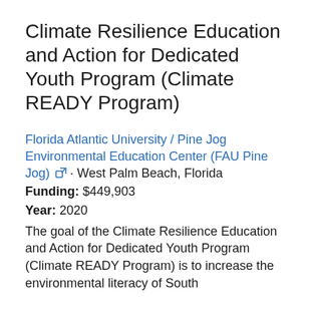Climate Resilience Education and Action for Dedicated Youth Program (Climate READY Program)
Florida Atlantic University / Pine Jog Environmental Education Center (FAU Pine Jog) · West Palm Beach, Florida
Funding: $449,903
Year: 2020
The goal of the Climate Resilience Education and Action for Dedicated Youth Program (Climate READY Program) is to increase the environmental literacy of South